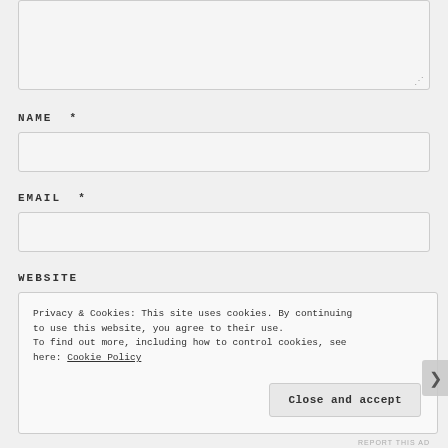[Figure (screenshot): Top portion of a comment form textarea, partially visible at the top of the page, with a resize handle in the bottom-right corner.]
NAME *
[Figure (screenshot): Text input field for NAME, styled with light gray background and rounded border.]
EMAIL *
[Figure (screenshot): Text input field for EMAIL, styled with light gray background and rounded border.]
WEBSITE
Privacy & Cookies: This site uses cookies. By continuing to use this website, you agree to their use.
To find out more, including how to control cookies, see here: Cookie Policy
Close and accept